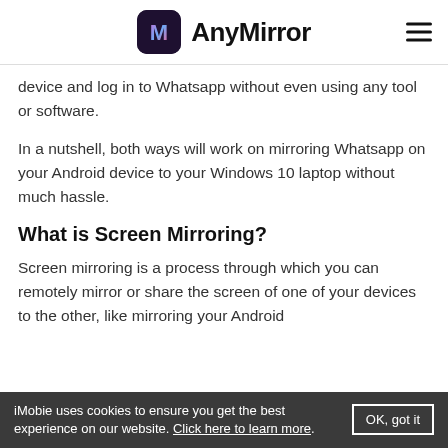AnyMirror
device and log in to Whatsapp without even using any tool or software.
In a nutshell, both ways will work on mirroring Whatsapp on your Android device to your Windows 10 laptop without much hassle.
What is Screen Mirroring?
Screen mirroring is a process through which you can remotely mirror or share the screen of one of your devices to the other, like mirroring your Android
iMobie uses cookies to ensure you get the best experience on our website. Click here to learn more. OK, got it